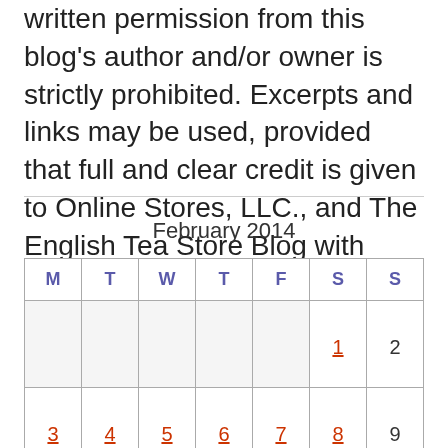written permission from this blog's author and/or owner is strictly prohibited. Excerpts and links may be used, provided that full and clear credit is given to Online Stores, LLC., and The English Tea Store Blog with appropriate and specific direction to the original content.
| M | T | W | T | F | S | S |
| --- | --- | --- | --- | --- | --- | --- |
|  |  |  |  |  | 1 | 2 |
| 3 | 4 | 5 | 6 | 7 | 8 | 9 |